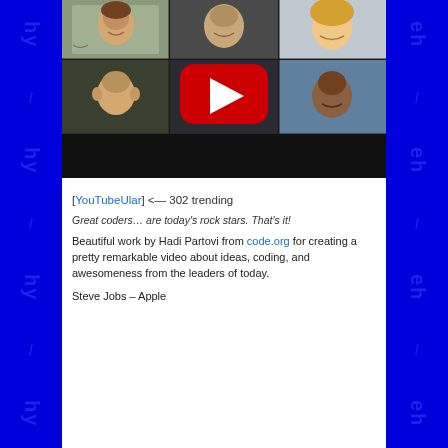[Figure (screenshot): YouTube video thumbnail showing a grid of 6 faces (tech leaders/celebrities) with a large red YouTube play button in the center. The grid has 2 rows of 3 faces each, with a dark bottom bar.]
[YouTubeUlar] <— 302 trending
Great coders… are today's rock stars. That's it!
Beautiful work by Hadi Partovi from code.org for creating a pretty remarkable video about ideas, coding, and awesomeness from the leaders of today.
Steve Jobs – Apple